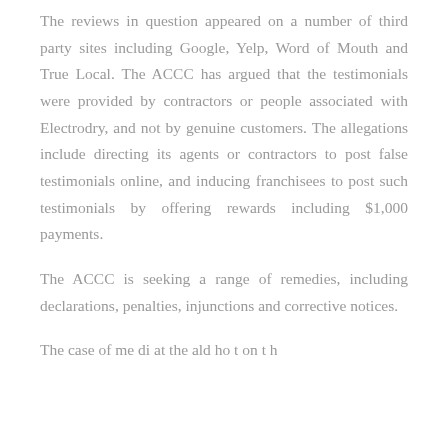The reviews in question appeared on a number of third party sites including Google, Yelp, Word of Mouth and True Local. The ACCC has argued that the testimonials were provided by contractors or people associated with Electrodry, and not by genuine customers. The allegations include directing its agents or contractors to post false testimonials online, and inducing franchisees to post such testimonials by offering rewards including $1,000 payments.
The ACCC is seeking a range of remedies, including declarations, penalties, injunctions and corrective notices.
The case of me di at the ald ho t on t h...